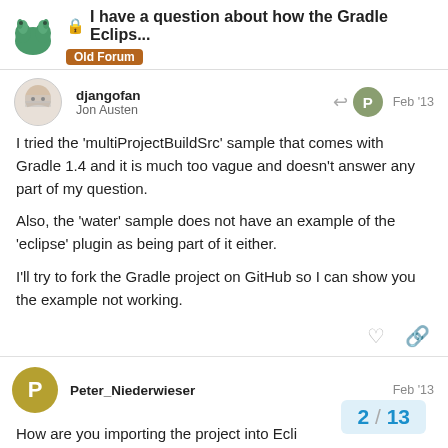I have a question about how the Gradle Eclips... | Old Forum
djangofan
Jon Austen
Feb '13
I tried the 'multiProjectBuildSrc' sample that comes with Gradle 1.4 and it is much too vague and doesn't answer any part of my question.

Also, the 'water' sample does not have an example of the 'eclipse' plugin as being part of it either.

I'll try to fork the Gradle project on GitHub so I can show you the example not working.
Peter_Niederwieser
Feb '13
How are you importing the project into Ecli...
of the fact that Eclipse doesn't handle hier...